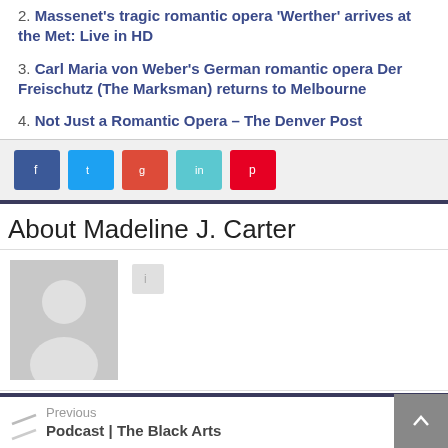2. Massenet's tragic romantic opera 'Werther' arrives at the Met: Live in HD
3. Carl Maria von Weber's German romantic opera Der Freischutz (The Marksman) returns to Melbourne
4. Not Just a Romantic Opera – The Denver Post
[Figure (other): Social share buttons: Facebook, Twitter, Google+, LinkedIn, Pinterest]
About Madeline J. Carter
[Figure (photo): Default avatar placeholder with silhouette of a person on grey background]
Previous
Podcast | The Black Arts